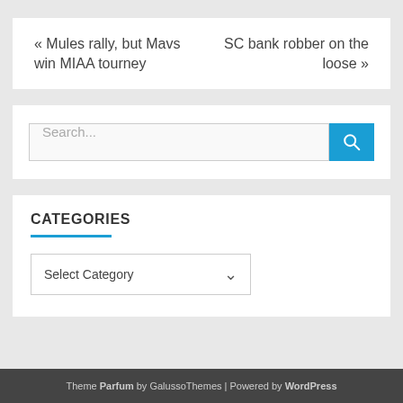« Mules rally, but Mavs win MIAA tourney
SC bank robber on the loose »
Search...
CATEGORIES
Select Category
Theme Parfum by GalussoThemes | Powered by WordPress